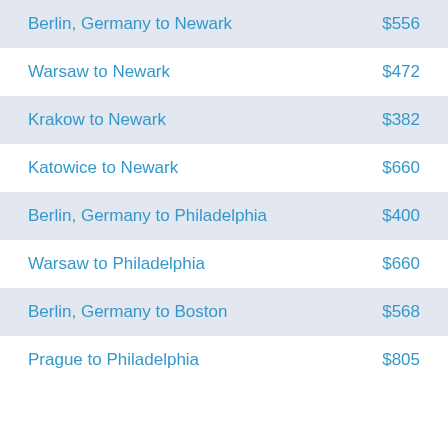| Route | Price |
| --- | --- |
| Berlin, Germany to Newark | $556 |
| Warsaw to Newark | $472 |
| Krakow to Newark | $382 |
| Katowice to Newark | $660 |
| Berlin, Germany to Philadelphia | $400 |
| Warsaw to Philadelphia | $660 |
| Berlin, Germany to Boston | $568 |
| Prague to Philadelphia | $805 |